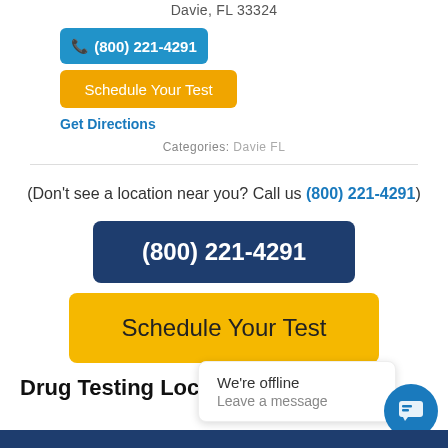Davie, FL 33324
(800) 221-4291
Schedule Your Test
Get Directions
Categories: Davie FL
(Don't see a location near you? Call us (800) 221-4291)
(800) 221-4291
Schedule Your Test
Drug Testing Locations near Davie,
We're offline
Leave a message